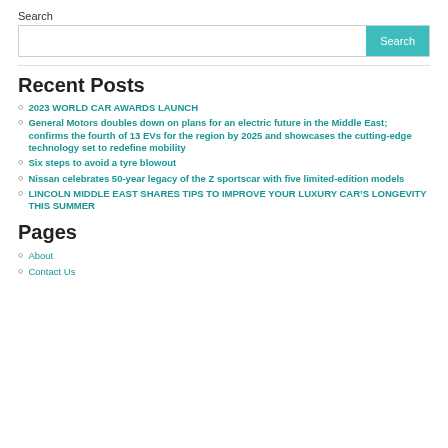Search
Search [input field with Search button]
Recent Posts
2023 WORLD CAR AWARDS LAUNCH
General Motors doubles down on plans for an electric future in the Middle East; confirms the fourth of 13 EVs for the region by 2025 and showcases the cutting-edge technology set to redefine mobility
Six steps to avoid a tyre blowout
Nissan celebrates 50-year legacy of the Z sportscar with five limited-edition models
LINCOLN MIDDLE EAST SHARES TIPS TO IMPROVE YOUR LUXURY CAR’S LONGEVITY THIS SUMMER
Pages
About
Contact Us